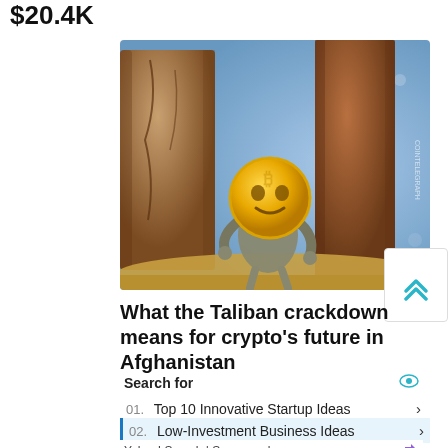$20.4K
[Figure (illustration): Illustrated crypto character (golden coin face, robotic body) hiding behind cracked ancient stone columns, with a blue bokeh background. Cointelegraph watermark in top right.]
What the Taliban crackdown means for crypto's future in Afghanistan
Search for
01. Top 10 Innovative Startup Ideas
02. Low-Investment Business Ideas
Yahoo! Search | Sponsored